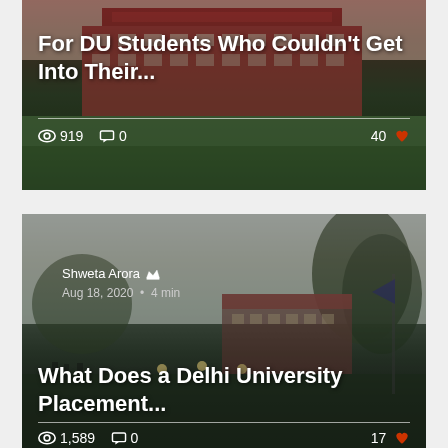[Figure (photo): Blog post card showing a university building (Arora Lal College, University of Delhi) with a grassy lawn. Overlaid white bold title text about DU students. Stats bar shows 919 views, 0 comments, 40 likes.]
For DU Students Who Couldn't Get Into Their...
919   0   40
[Figure (photo): Blog post card showing a Delhi University campus event with students gathered on a lawn at dusk with lights and trees. Author: Shweta Arora, Aug 18, 2020, 4 min read. Overlaid title about Delhi University Placement. Stats: 1,589 views, 0 comments, 17 likes.]
Shweta Arora
Aug 18, 2020  •  4 min
What Does a Delhi University Placement...
1,589   0   17